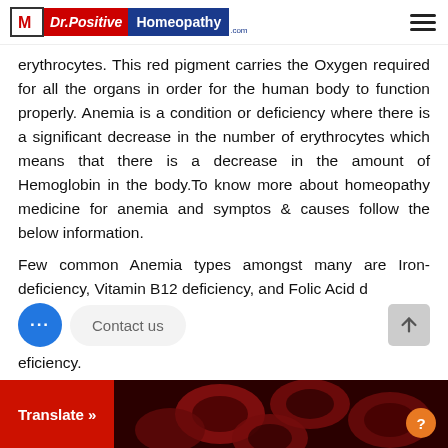Dr. Positive Homeopathy
erythrocytes. This red pigment carries the Oxygen required for all the organs in order for the human body to function properly. Anemia is a condition or deficiency where there is a significant decrease in the number of erythrocytes which means that there is a decrease in the amount of Hemoglobin in the body.To know more about homeopathy medicine for anemia and symptos & causes follow the below information.
Few common Anemia types amongst many are Iron-deficiency, Vitamin B12 deficiency, and Folic Acid deficiency.
[Figure (photo): Red blood cells (erythrocytes) shown against a dark red background at the bottom of the page, with a Translate button overlay and a help icon.]